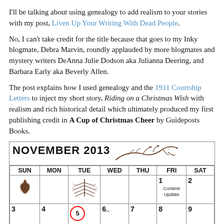I'll be talking about using genealogy to add realism to your stories with my post, Liven Up Your Writing With Dead People.
No, I can't take credit for the title because that goes to my Inky blogmate, Debra Marvin, roundly applauded by more blogmates and mystery writers DeAnna Julie Dodson aka Julianna Deering, and Barbara Early aka Beverly Allen.
The post explains how I used genealogy and the 1911 Courtship Letters to inject my short story, Riding on a Christmas Wish with realism and rich historical detail which ultimately produced my first publishing credit in A Cup of Christmas Cheer by Guideposts Books.
[Figure (other): November 2013 calendar showing days SUN through SAT with decorative pine cone and branch illustrations. FRI 1 has 'Contest Update' note; WED row shows pine branch decoration; day 5 is circled in red with 'Anita' label. Bottom row shows dates 3-9 partially visible.]